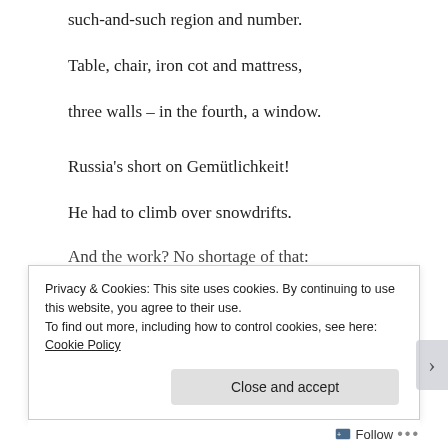such-and-such region and number.
Table, chair, iron cot and mattress,
three walls – in the fourth, a window.
Russia's short on Gemütlichkeit!
He had to climb over snowdrifts.
And the work? No shortage of that:
Privacy & Cookies: This site uses cookies. By continuing to use this website, you agree to their use. To find out more, including how to control cookies, see here: Cookie Policy